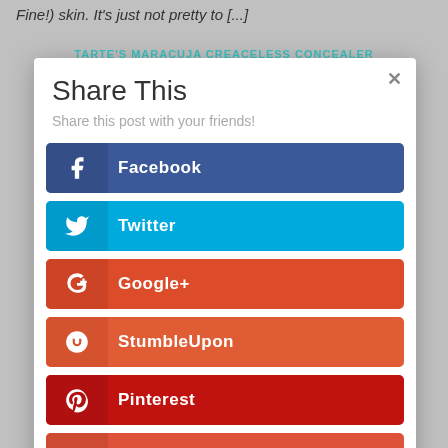Fine!) skin. It's just not pretty to [...]
TARTE'S MARACUJA CREACELESS CONCEALER
Share This
Share this post with your friends!
Facebook
Twitter
Google+
StumbleUpon
Pinterest
Gmail